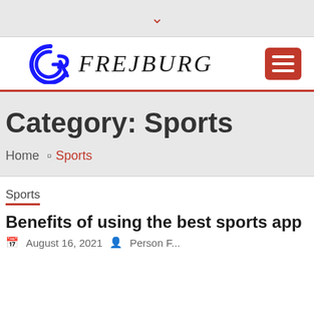▾
[Figure (logo): Freiburg website logo: blue stylized GR monogram icon with text FREIBURG in serif italic, plus red hamburger menu button]
Category: Sports
Home › Sports
Sports
Benefits of using the best sports app
August 16, 2021  Person F...